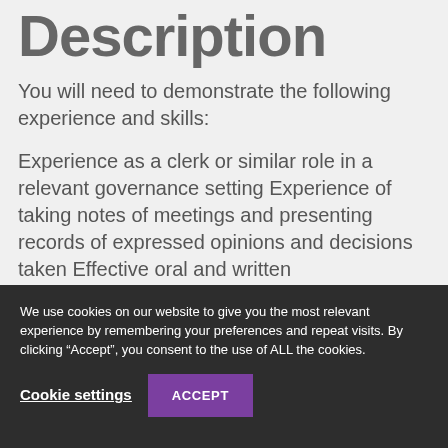Description
You will need to demonstrate the following experience and skills:
Experience as a clerk or similar role in a relevant governance setting Experience of taking notes of meetings and presenting records of expressed opinions and decisions taken Effective oral and written communication skills to be able to work effectively with a range of audiences
We use cookies on our website to give you the most relevant experience by remembering your preferences and repeat visits. By clicking “Accept”, you consent to the use of ALL the cookies.
Cookie settings
ACCEPT